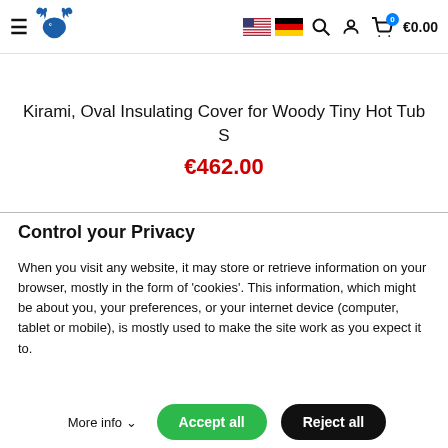Navigation bar with hamburger menu, moose logo, US and German flag icons, search icon, user icon, cart with 0 badge, €0.00
Kirami, Oval Insulating Cover for Woody Tiny Hot Tub S
€462.00
Control your Privacy
When you visit any website, it may store or retrieve information on your browser, mostly in the form of 'cookies'. This information, which might be about you, your preferences, or your internet device (computer, tablet or mobile), is mostly used to make the site work as you expect it to.
More info  Accept all  Reject all